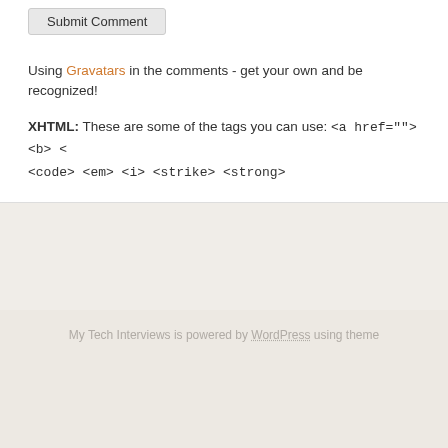Submit Comment
Using Gravatars in the comments - get your own and be recognized!
XHTML: These are some of the tags you can use: <a href=""> <b> <code> <em> <i> <strike> <strong>
My Tech Interviews is powered by WordPress using theme